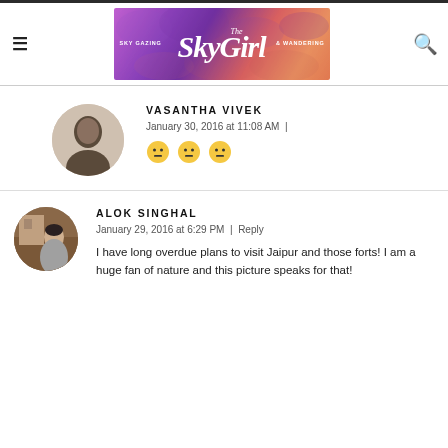The SkyGirl — SKY GAZING & WANDERING
VASANTHA VIVEK
January 30, 2016 at 11:08 AM  |
[Figure (illustration): Three neutral/grimace emoji faces in a row]
ALOK SINGHAL
January 29, 2016 at 6:29 PM  |  Reply
I have long overdue plans to visit Jaipur and those forts! I am a huge fan of nature and this picture speaks for that!